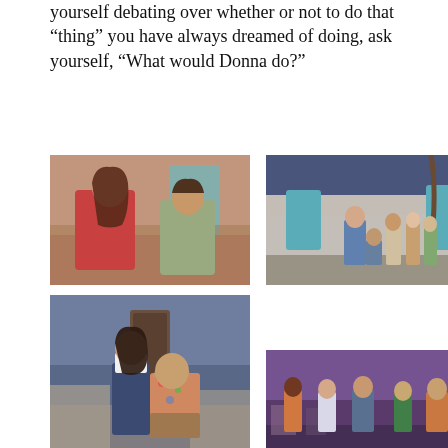yourself debating over whether or not to do that “thing” you have always dreamed of doing, ask yourself, “What would Donna do?”
[Figure (photo): Two actors on stage facing each other, a young woman in red floral dress and a young man in grey vest, theatrical set with blue door and teal/grey backdrop]
[Figure (photo): Wide theatrical stage shot with multiple actors, blue and white Greek island set with blue doors, one actor in overalls center stage, others grouped to the right]
[Figure (photo): Two actors in close embrace on stage, young woman in overalls leaning on man in floral Hawaiian shirt and khaki shorts, blue scenic backdrop with door]
[Figure (photo): Wide theatrical stage shot with five actors under purple lighting, Greek island set, actors standing in a line across the stage]